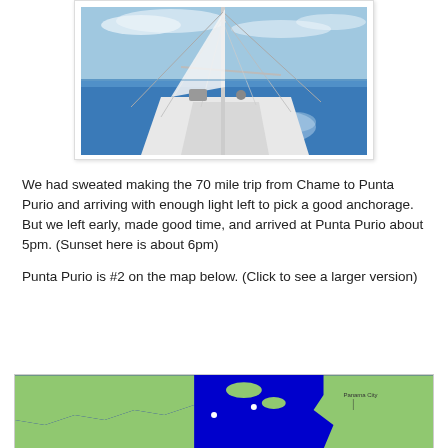[Figure (photo): Sailboat bow view from deck looking forward over the mast and rigging toward calm blue ocean water, blue sky with clouds above.]
We had sweated making the 70 mile trip from Chame to Punta Purio and arriving with enough light left to pick a good anchorage. But we left early, made good time, and arrived at Punta Purio about 5pm. (Sunset here is about 6pm)
Punta Purio is #2 on the map below. (Click to see a larger version)
[Figure (map): Map showing coastline of Panama with blue ocean and green land masses. Panama City label visible on the right side.]